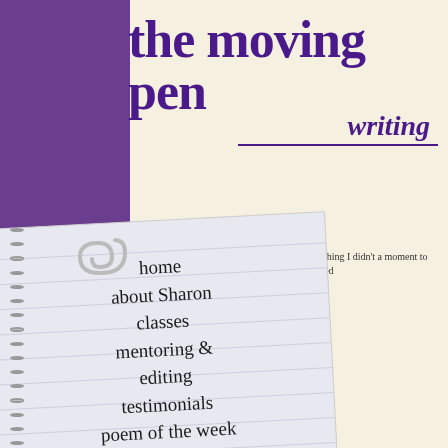the moving pen
writing
home
about Sharon
classes
mentoring & editing
testimonials
poem of the week
events
Links
Poet Jane Hirshfle writing (is) that it is something I didn't a moment to moment as well. A new poe just beyond the ed
I bring a diff classes eac but to introd
Clear to
what I pl was not c in the fu to I-know the exhil as licens put my ha